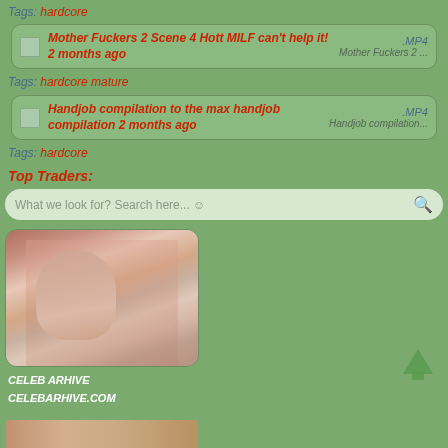Tags: hardcore
[Figure (screenshot): Thumbnail for Mother Fuckers 2 Scene 4 Hott MILF can't help it! video entry with .MP4 label and title Mother Fuckers 2 ...]
Tags: hardcore mature
[Figure (screenshot): Thumbnail for Handjob compilation to the max handjob compilation video entry with .MP4 label and title Handjob compilation...]
Tags: hardcore
Top Traders:
What we look for? Search here... ☺
[Figure (photo): Photo of a woman with curly hair wearing a pearl necklace, pink background, vintage style]
CELEB ARHIVE
CELEBARHIVE.COM
[Figure (photo): Partial bottom image thumbnail]